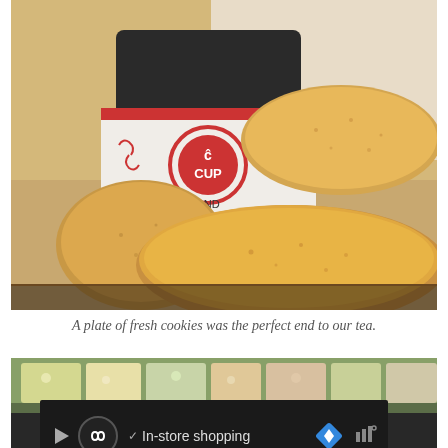[Figure (photo): A plate of golden-brown shortbread cookies on a white surface, with a dark jar featuring a red circular logo reading 'CUP' in the background. The cookies are thick and appear freshly baked.]
A plate of fresh cookies was the perfect end to our tea.
[Figure (photo): Partial view of a display case with colorful desserts or pastries, partially obscured by an advertisement overlay bar.]
[Figure (screenshot): Advertisement banner overlay with dark background showing a circular logo icon, a checkmark, the text 'In-store shopping', a blue diamond navigation icon, and a weather/temperature indicator. A red X cancel button is visible at the bottom left.]